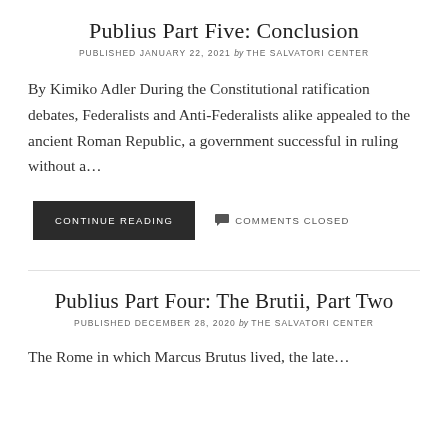Publius Part Five: Conclusion
PUBLISHED JANUARY 22, 2021 by THE SALVATORI CENTER
By Kimiko Adler During the Constitutional ratification debates, Federalists and Anti-Federalists alike appealed to the ancient Roman Republic, a government successful in ruling without a…
CONTINUE READING
COMMENTS CLOSED
Publius Part Four: The Brutii, Part Two
PUBLISHED DECEMBER 28, 2020 by THE SALVATORI CENTER
The Rome in which Marcus Brutus lived, the late…